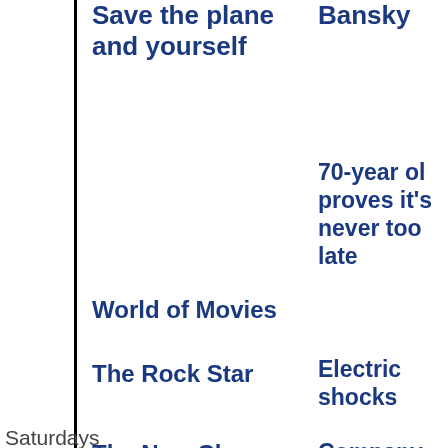Save the planet and yourself
Bansky
70-year old proves it's never too late
World of Movies
late
The Rock Star
Electric shocks
Saturdays
The New Class
Company makes gas from garbage
Business Communications
City dweller